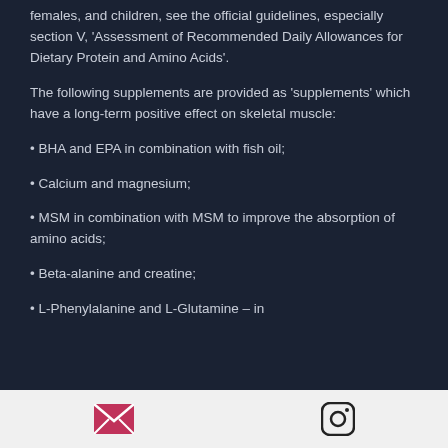females, and children, see the official guidelines, especially section V, 'Assessment of Recommended Daily Allowances for Dietary Protein and Amino Acids'.
The following supplements are provided as 'supplements' which have a long-term positive effect on skeletal muscle:
BHA and EPA in combination with fish oil;
Calcium and magnesium;
MSM in combination with MSM to improve the absorption of amino acids;
Beta-alanine and creatine;
L-Phenylalanine and L-Glutamine – in
[Figure (infographic): Footer bar with email icon (pink envelope) and Instagram icon (camera outline)]